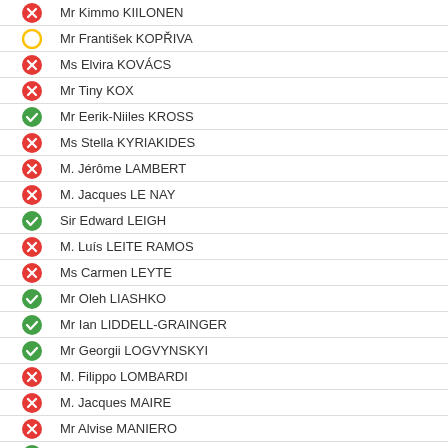Mr Kimmo KIILONEN
Mr František KOPŘIVA
Ms Elvira KOVÁCS
Mr Tiny KOX
Mr Eerik-Niiles KROSS
Ms Stella KYRIAKIDES
M. Jérôme LAMBERT
M. Jacques LE NAY
Sir Edward LEIGH
M. Luís LEITE RAMOS
Ms Carmen LEYTE
Mr Oleh LIASHKO
Mr Ian LIDDELL-GRAINGER
Mr Georgii LOGVYNSKYI
M. Filippo LOMBARDI
M. Jacques MAIRE
Mr Alvise MANIERO
M. Ruarte MARQUES